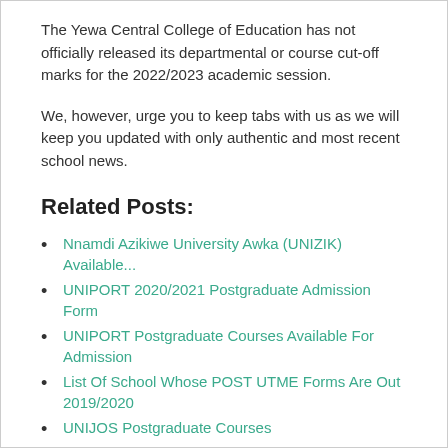The Yewa Central College of Education has not officially released its departmental or course cut-off marks for the 2022/2023 academic session.
We, however, urge you to keep tabs with us as we will keep you updated with only authentic and most recent school news.
Related Posts:
Nnamdi Azikiwe University Awka (UNIZIK) Available...
UNIPORT 2020/2021 Postgraduate Admission Form
UNIPORT Postgraduate Courses Available For Admission
List Of School Whose POST UTME Forms Are Out 2019/2020
UNIJOS Postgraduate Courses
Nigerian Universities Offering Law